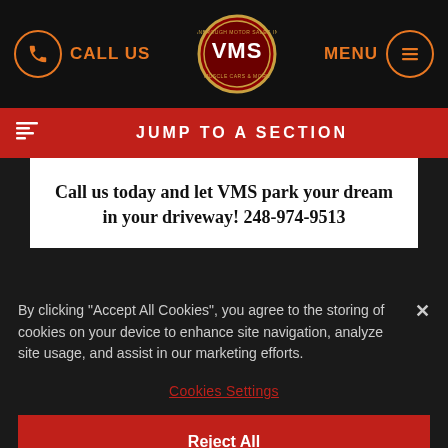CALL US | [VMS Logo] | MENU
JUMP TO A SECTION
Call us today and let VMS park your dream in your driveway! 248-974-9513
By clicking “Accept All Cookies”, you agree to the storing of cookies on your device to enhance site navigation, analyze site usage, and assist in our marketing efforts.
Cookies Settings
Reject All
Accept All Cookies